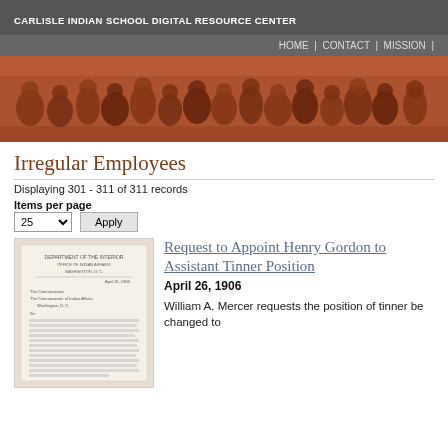CARLISLE INDIAN SCHOOL DIGITAL RESOURCE CENTER
HOME | CONTACT | MISSION |
[Figure (photo): Historical sepia-tone photograph of a group of Native American people seated together]
Irregular Employees
Displaying 301 - 311 of 311 records
Items per page
25  Apply
[Figure (photo): Thumbnail image of a historical document - a letter from the Department of the Interior]
Request to Appoint Henry Gordon to Assistant Tinner Position
April 26, 1906
William A. Mercer requests the position of tinner be changed to